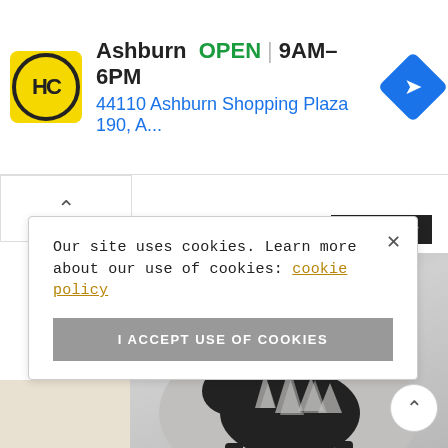[Figure (screenshot): Google ad banner for HC (Hilton Head/Hardware store) in Ashburn showing logo, OPEN status, hours 9AM-6PM, address 44110 Ashburn Shopping Plaza 190, A., and a blue navigation diamond icon]
[Figure (screenshot): Partial promo banner showing 'Max 30% OFF' in red bold italic text with a 'Shop Now' black button]
[Figure (photo): Mildstyles brand product photo showing a man wearing a grey t-shirt with a bear silhouette filled with forest/pine tree design]
Our site uses cookies. Learn more about our use of cookies: cookie policy
I ACCEPT USE OF COOKIES
[Figure (screenshot): Partial bottom strip showing yellow bold text 'ng' partially visible]